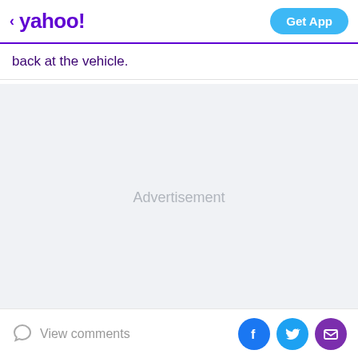yahoo! | Get App
back at the vehicle.
[Figure (other): Advertisement placeholder area with light gray background]
Portland police responded to gunfire that had taken
View comments | Facebook | Twitter | Email